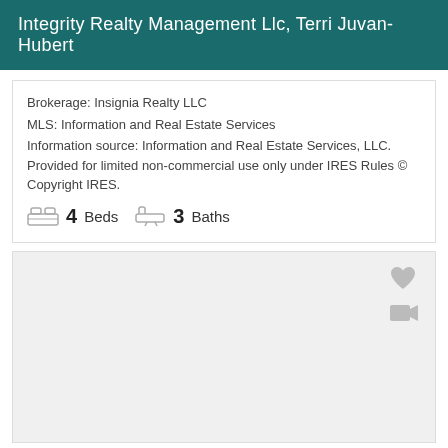Integrity Realty Management Llc, Terri Juvan-Hubert
Brokerage: Insignia Realty LLC
MLS: Information and Real Estate Services
Information source: Information and Real Estate Services, LLC. Provided for limited non-commercial use only under IRES Rules © Copyright IRES.
4 Beds   3 Baths
[Figure (photo): Listing photo area (blank/empty image placeholder) with heart icon and video camera icon in top-right corner]
$638,000
12885 Clarkson Cir
Single Family
For Sale